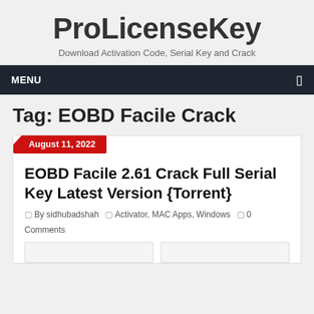ProLicenseKey
Download Activation Code, Serial Key and Crack
MENU
Tag: EOBD Facile Crack
August 11, 2022
EOBD Facile 2.61 Crack Full Serial Key Latest Version {Torrent}
By sidhubadshah  Activator, MAC Apps, Windows  0 Comments